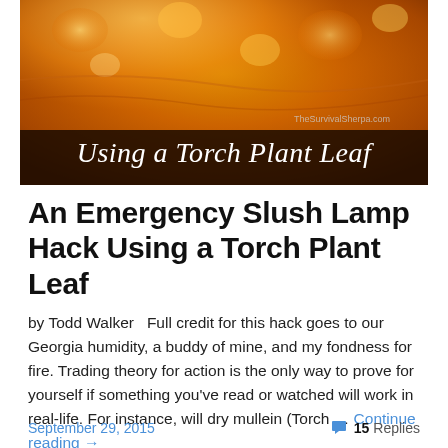[Figure (photo): Hero image showing a torch plant leaf with warm amber/orange lighting and text overlay 'Using a Torch Plant Leaf' with watermark 'TheSurvivalSherpa.com']
An Emergency Slush Lamp Hack Using a Torch Plant Leaf
by Todd Walker   Full credit for this hack goes to our Georgia humidity, a buddy of mine, and my fondness for fire. Trading theory for action is the only way to prove for yourself if something you've read or watched will work in real-life. For instance, will dry mullein (Torch … Continue reading →
September 29, 2015    💬 15 Replies